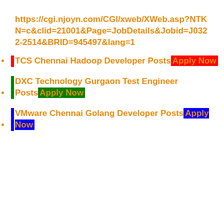https://cgi.njoyn.com/CGI/xweb/XWeb.asp?NTKN=c&clid=21001&Page=JobDetails&Jobid=J0322-2514&BRID=945497&lang=1
TCS Chennai Hadoop Developer Posts Apply Now
DXC Technology Gurgaon Test Engineer Posts Apply Now
VMware Chennai Golang Developer Posts Apply Now